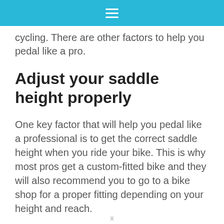≡
cycling. There are other factors to help you pedal like a pro.
Adjust your saddle height properly
One key factor that will help you pedal like a professional is to get the correct saddle height when you ride your bike. This is why most pros get a custom-fitted bike and they will also recommend you to go to a bike shop for a proper fitting depending on your height and reach.
×